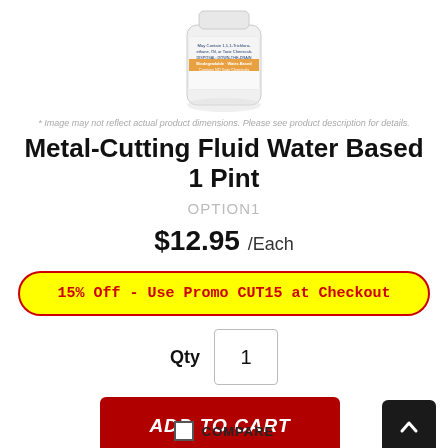[Figure (photo): Product image of a white cylindrical bottle/container with label text including 'Biodegradable Water Based Contains NO Toxic Chemicals']
* Image may not reflect actual product dimensions. Please see product description for details.
Metal-Cutting Fluid Water Based 1 Pint
OPTION1
$12.95 /Each
15% Off - Use Promo CUT15 at Checkout
Qty 1
ADD TO CART
COMPARE